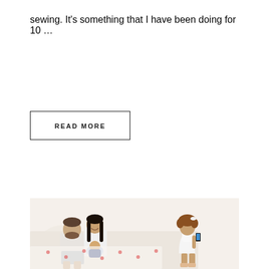sewing. It's something that I have been doing for 10 …
READ MORE
[Figure (photo): A family scene on a white couch: a man with short hair and beard in a white t-shirt and grey shorts, a dark-haired woman in white laughing, a baby in the woman's arms, and a young girl with curly hair in a white dress standing and holding a smartphone, seemingly taking a photo of the family.]